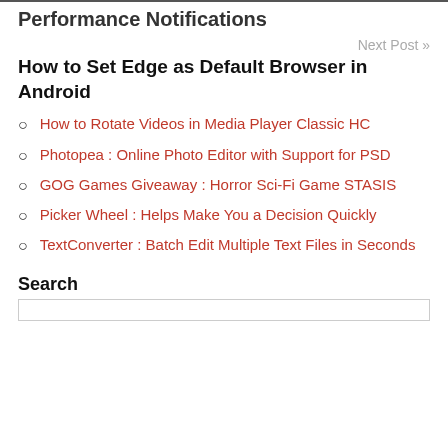Performance Notifications
Next Post »
How to Set Edge as Default Browser in Android
How to Rotate Videos in Media Player Classic HC
Photopea : Online Photo Editor with Support for PSD
GOG Games Giveaway : Horror Sci-Fi Game STASIS
Picker Wheel : Helps Make You a Decision Quickly
TextConverter : Batch Edit Multiple Text Files in Seconds
Search